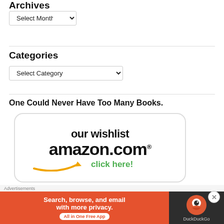Archives
Select Month
Categories
Select Category
One Could Never Have Too Many Books.
[Figure (other): Amazon.com wishlist banner showing 'our wishlist', 'amazon.com' logo with arrow smile, and 'click here!' text in green]
Advertisements
[Figure (other): DuckDuckGo advertisement banner: 'Search, browse, and email with more privacy. All in One Free App' on orange background with DuckDuckGo logo on dark right panel]